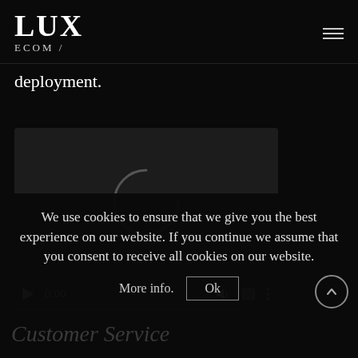LUX ECOM /
deployment.
[Figure (screenshot): Video player showing loading spinner, time 0:00, with play button, volume, fullscreen and more controls, and a dark progress bar at the bottom.]
We use cookies to ensure that we give you the best experience on our website. If you continue we assume that you consent to receive all cookies on our website.
More info.  Ok
Customer Service